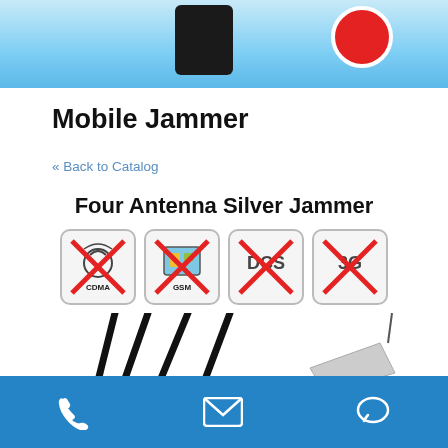[Figure (screenshot): Top banner image showing a mobile phone and a red circle on a light blue gradient background]
Mobile Jammer
« Back to Catalog
[Figure (infographic): Product section showing 'Four Antenna Silver Jammer' title with four signal-blocking icons (CDMA, GSM, DCS, 3G) each crossed out with red X, and antenna rods below]
[Figure (infographic): Bottom navigation bar with phone, email, and chat icons on blue background]